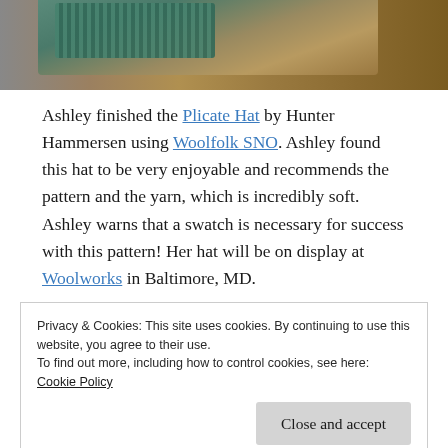[Figure (photo): Top portion of a photo showing a teal/green knitted hat on a wooden surface background]
Ashley finished the Plicate Hat by Hunter Hammersen using Woolfolk SNO.  Ashley found this hat to be very enjoyable and recommends the pattern and the yarn, which is incredibly soft.  Ashley warns that a swatch is necessary for success with this pattern!  Her hat will be on display at Woolworks in Baltimore, MD.
Privacy & Cookies: This site uses cookies. By continuing to use this website, you agree to their use.
To find out more, including how to control cookies, see here:
Cookie Policy
[Figure (photo): Bottom portion of the page showing the top edge of another photo]